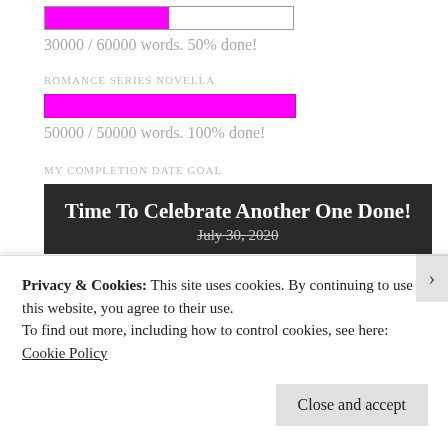[Figure (other): Progress bar at 50% filled with magenta/pink color, inside a bordered rectangle]
30000 / 60000 words. 50% done!
ROMANCE SERIES NOVELLA
[Figure (other): Progress bar at 100% filled with magenta/pink color]
50000 / 50000 words. 100% done!
MY COMPLETION DATE GOAL
Time To Celebrate Another One Done!
July 30, 2020
Privacy & Cookies: This site uses cookies. By continuing to use this website, you agree to their use.
To find out more, including how to control cookies, see here: Cookie Policy
Close and accept